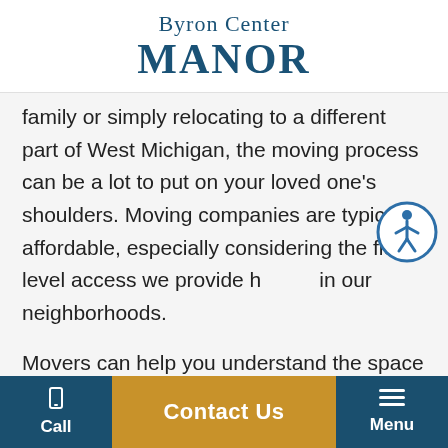Byron Center MANOR
family or simply relocating to a different part of West Michigan, the moving process can be a lot to put on your loved one's shoulders. Moving companies are typically affordable, especially considering the floor-level access we provide here in our neighborhoods.
Movers can help you understand the space you're leaving and moving into, and recommend arrangements or capacity limits for keeping the
Call | Contact Us | Menu